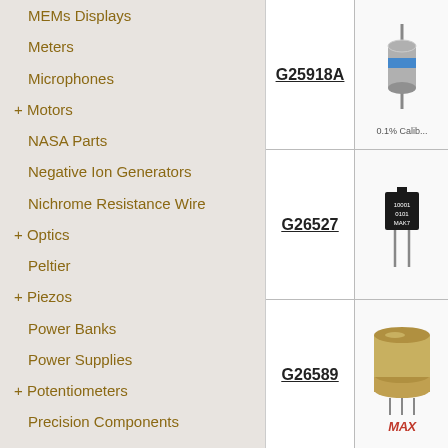MEMs Displays
Meters
Microphones
+ Motors
NASA Parts
Negative Ion Generators
Nichrome Resistance Wire
+ Optics
Peltier
+ Piezos
Power Banks
Power Supplies
+ Potentiometers
Precision Components
Pulleys & Belts
+ Pumps
+ Relays
+ Resistors
+ Robotics
Scientific Items
[Figure (photo): Product G25918A - cylindrical resistor/component with blue band, 0.1% Calib label]
[Figure (photo): Product G26527 - small black IC chip/transistor package with leads]
[Figure (photo): Product G26589 - metal TO-can transistor package with Maxim logo]